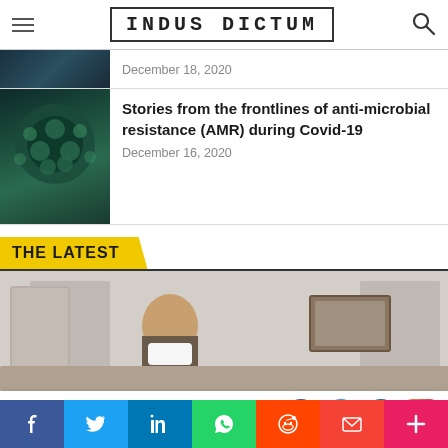INDUS DICTUM
December 18, 2020
Stories from the frontlines of anti-microbial resistance (AMR) during Covid-19
December 16, 2020
THE LATEST
[Figure (photo): People in a meeting room wearing face masks, with portraits on the wall]
[Figure (infographic): Follow social media bar with Facebook, Twitter, LinkedIn, Instagram icons]